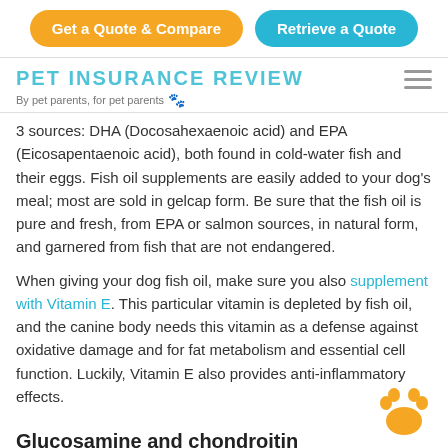Get a Quote & Compare | Retrieve a Quote
PET INSURANCE REVIEW
By pet parents, for pet parents 🐾
3 sources: DHA (Docosahexaenoic acid) and EPA (Eicosapentaenoic acid), both found in cold-water fish and their eggs. Fish oil supplements are easily added to your dog's meal; most are sold in gelcap form. Be sure that the fish oil is pure and fresh, from EPA or salmon sources, in natural form, and garnered from fish that are not endangered.
When giving your dog fish oil, make sure you also supplement with Vitamin E. This particular vitamin is depleted by fish oil, and the canine body needs this vitamin as a defense against oxidative damage and for fat metabolism and essential cell function. Luckily, Vitamin E also provides anti-inflammatory effects.
Glucosamine and chondroitin